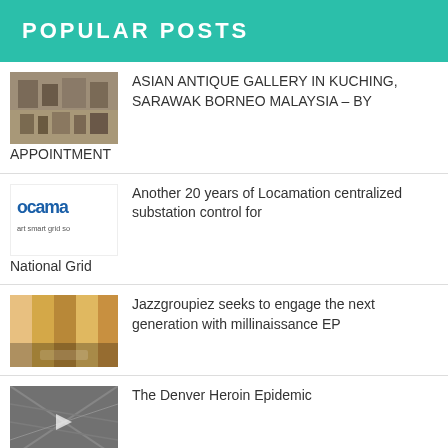POPULAR POSTS
ASIAN ANTIQUE GALLERY IN KUCHING, SARAWAK BORNEO MALAYSIA – BY APPOINTMENT
Another 20 years of Locamation centralized substation control for National Grid
Jazzgroupiez seeks to engage the next generation with millinaissance EP
The Denver Heroin Epidemic
Family Travel Tips – Flying with Toddlers
HomeElectionStory: New Hampshire